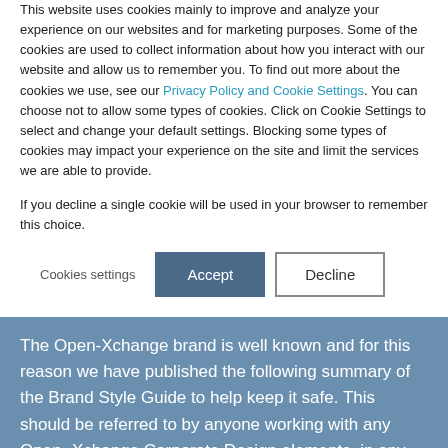This website uses cookies mainly to improve and analyze your experience on our websites and for marketing purposes. Some of the cookies are used to collect information about how you interact with our website and allow us to remember you. To find out more about the cookies we use, see our Privacy Policy and Cookie Settings. You can choose not to allow some types of cookies. Click on Cookie Settings to select and change your default settings. Blocking some types of cookies may impact your experience on the site and limit the services we are able to provide.
If you decline a single cookie will be used in your browser to remember this choice.
Cookies settings | Accept | Decline
The Open-Xchange brand is well known and for this reason we have published the following summary of the Brand Style Guide to help keep it safe. This should be referred to by anyone working with any Open-Xchange Corporate Design elements, in any medium.
The following sections briefly describe how to, and